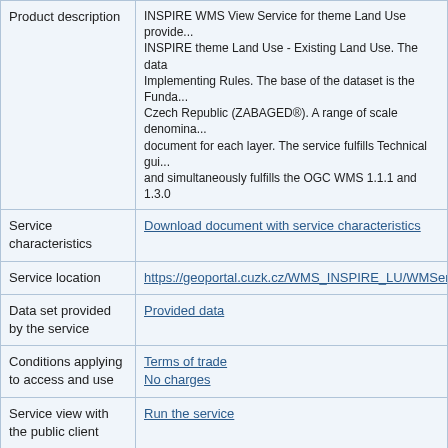| Label | Value |
| --- | --- |
| Product description | INSPIRE WMS View Service for theme Land Use provide... INSPIRE theme Land Use - Existing Land Use. The data Implementing Rules. The base of the dataset is the Funda... Czech Republic (ZABAGED®). A range of scale denomina... document for each layer. The service fulfills Technical gui... and simultaneously fulfills the OGC WMS 1.1.1 and 1.3.0 |
| Service characteristics | Download document with service characteristics |
| Service location | https://geoportal.cuzk.cz/WMS_INSPIRE_LU/WMService... |
| Data set provided by the service | Provided data |
| Conditions applying to access and use | Terms of trade
No charges |
| Service view with the public client | Run the service |
| Contact | Czech Office for Surveying, Mapping and Cadastre, Srovn... 860 , e-mail: pavel.srovnal@cuzk.cz |
Detailed metadata
XML Metadata